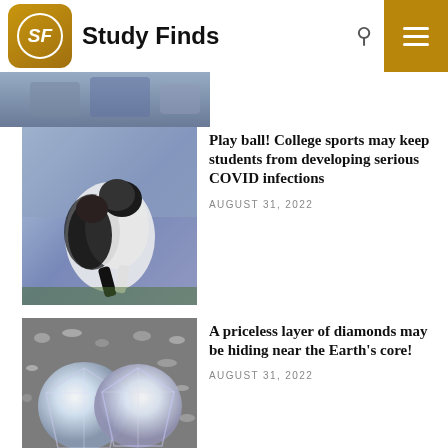Study Finds
[Figure (photo): Partially visible sports image (cropped at top)]
[Figure (photo): College football players tackling during a game]
Play ball! College sports may keep students from developing serious COVID infections
AUGUST 31, 2022
[Figure (photo): Two large sparkling diamonds on a grey crushed diamond background]
A priceless layer of diamonds may be hiding near the Earth's core!
AUGUST 31, 2022
[Figure (photo): Man in white shirt sitting at office desk, smiling, holding coffee cup]
Give me a break! Short, regular breaks boost energy levels at work
AUGUST 31, 2022